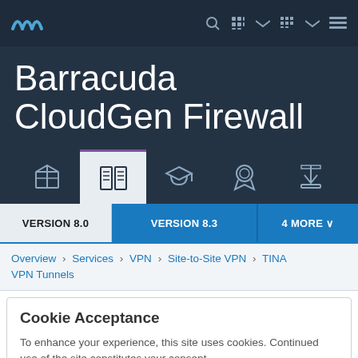Barracuda CloudGen Firewall - Navigation bar with logo and icons
Barracuda CloudGen Firewall
[Figure (other): Navigation tab icons row: product box, documentation (active), graduation cap, certificate/award, download]
VERSION 8.0 | VERSION 8.3 | 4 MORE
Overview > Services > VPN > Site-to-Site VPN > TINA VPN Tunnels
Cookie Acceptance
To enhance your experience, this site uses cookies. Continued use of the site constitutes your consent.